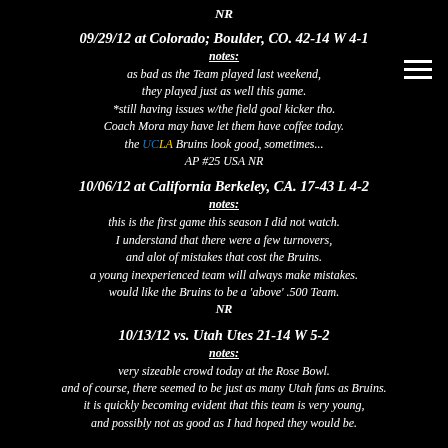NR
09/29/12 at Colorado; Boulder, CO. 42-14 W 4-1
notes:
as bad as the Team played last weekend,
they played just as well this game.
*still having issues w/the field goal kicker tho.
Coach Mora may have let them have coffee today.
the UCLA Bruins look good, sometimes...
AP #25 USA NR
10/06/12 at California Berkeley, CA. 17-43 L 4-2
notes:
this is the first game this season I did not watch.
I understand that there were a few turnovers,
and alot of mistakes that cost the Bruins.
a young inexperienced team will always make mistakes.
would like the Bruins to be a 'above' .500 Team.
NR
10/13/12 vs. Utah Utes 21-14 W 5-2
notes:
very sizeable crowd today at the Rose Bowl.
and of course, there seemed to be just as many Utah fans as Bruins.
it is quickly becoming evident that this team is very young,
and possibly not as good as I had hoped they would be.